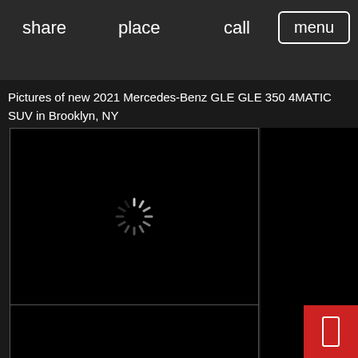share   place   call
menu
Pictures of new 2021 Mercedes-Benz GLE GLE 350 4MATIC SUV in Brooklyn, NY
[Figure (photo): Loading spinner on black background — main image loading area]
[Figure (photo): Second image thumbnail area, black background]